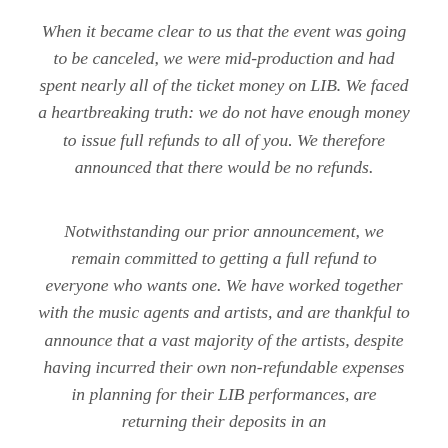When it became clear to us that the event was going to be canceled, we were mid-production and had spent nearly all of the ticket money on LIB. We faced a heartbreaking truth: we do not have enough money to issue full refunds to all of you. We therefore announced that there would be no refunds.
Notwithstanding our prior announcement, we remain committed to getting a full refund to everyone who wants one. We have worked together with the music agents and artists, and are thankful to announce that a vast majority of the artists, despite having incurred their own non-refundable expenses in planning for their LIB performances, are returning their deposits in an